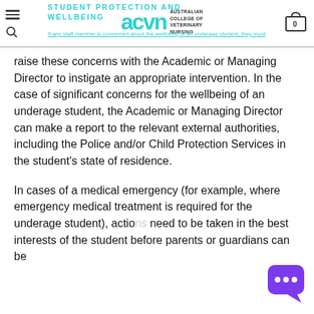STUDENT PROTECTION AND WELLBEING — Australian College of Veterinary Nursing (acvn)
If any staff member is concerned about the wellbeing of an underage student, they must raise these concerns with the Academic or Managing Director to instigate an appropriate intervention. In the case of significant concerns for the wellbeing of an underage student, the Academic or Managing Director can make a report to the relevant external authorities, including the Police and/or Child Protection Services in the student's state of residence.
In cases of a medical emergency (for example, where emergency medical treatment is required for the underage student), actions need to be taken in the best interests of the student before parents or guardians can be